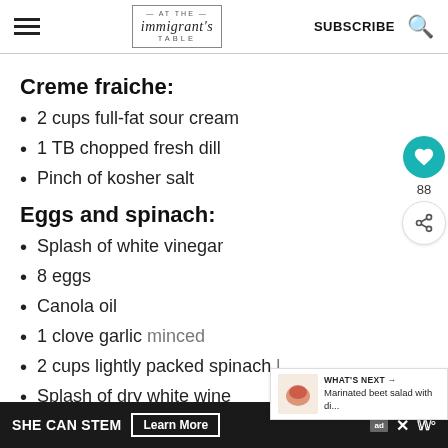at the immigrant's table — SUBSCRIBE
Creme fraiche:
2 cups full-fat sour cream
1 TB chopped fresh dill
Pinch of kosher salt
Eggs and spinach:
Splash of white vinegar
8 eggs
Canola oil
1 clove garlic minced
2 cups lightly packed spinach
Splash of dry white wine
WHAT'S NEXT → Marinated beet salad with di...
SHE CAN STEM  Learn More  ad  ×